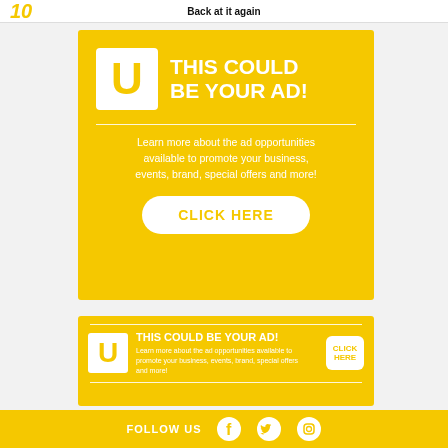Back at it again
[Figure (infographic): Large yellow advertisement box with U logo, headline 'THIS COULD BE YOUR AD!', descriptive text, and 'CLICK HERE' button]
[Figure (infographic): Small yellow banner advertisement with U logo, headline 'THIS COULD BE YOUR AD!' and 'CLICK HERE' button]
[Figure (infographic): Yellow footer bar with FOLLOW US text and social media icons for Facebook, Twitter, Instagram]